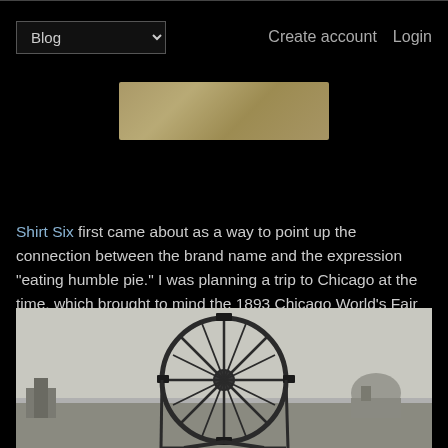Blog | Create account | Login
[Figure (photo): Partial view of a beige/tan fabric or cloth item (shirt) on black background]
Shirt Six first came about as a way to point up the connection between the brand name and the expression "eating humble pie." I was planning a trip to Chicago at the time, which brought to mind the 1893 Chicago World's Fair and the original Ferris Wheel.
[Figure (photo): Black and white historical photograph of the original Ferris Wheel at the 1893 Chicago World's Fair, showing the large wheel structure against a light sky with buildings visible in the background]